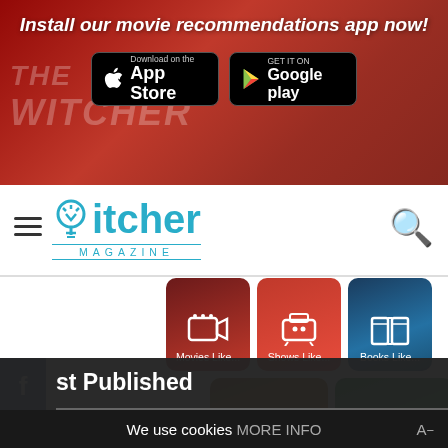Install our movie recommendations app now!
[Figure (screenshot): App Store and Google Play download buttons on red banner]
[Figure (logo): itcher MAGAZINE logo with lightbulb icon and search icon]
[Figure (infographic): Category tiles: Movies Like..., Shows Like..., Books Like..., Artists Like..., Games Like...]
st Published
We use cookies MORE INFO